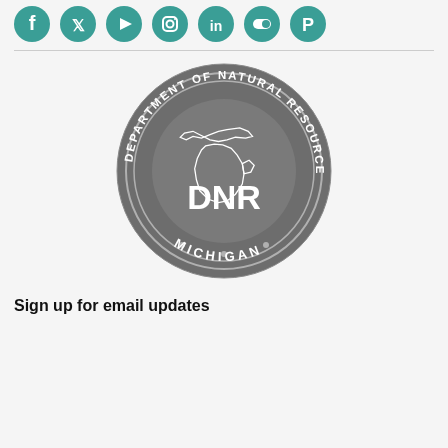[Figure (logo): Row of seven teal/green circular social media icons: Facebook, Twitter, YouTube, Instagram, LinkedIn, Flickr (or similar), Pinterest]
[Figure (logo): Michigan Department of Natural Resources (DNR) official circular seal in gray, showing Michigan state outline with 'DEPARTMENT OF NATURAL RESOURCES' around the top, 'MICHIGAN' across the bottom, and 'DNR' in the center]
Sign up for email updates